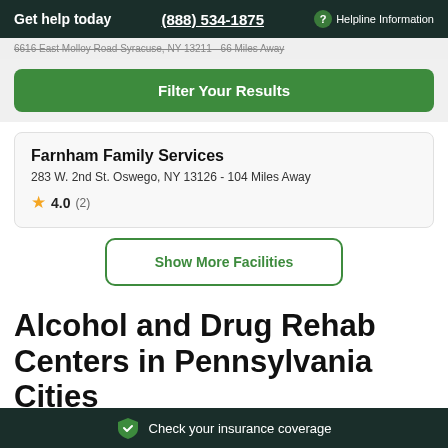Get help today (888) 534-1875 Helpline Information
6616 East Molloy Road Syracuse, NY 13211 - 66 Miles Away
Filter Your Results
Farnham Family Services
283 W. 2nd St. Oswego, NY 13126 - 104 Miles Away
★ 4.0 (2)
Show More Facilities
Alcohol and Drug Rehab Centers in Pennsylvania Cities
Check your insurance coverage